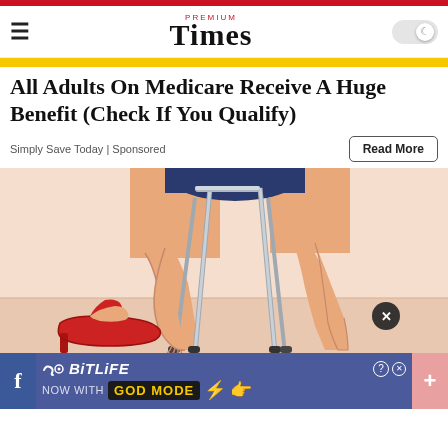PREMIUM Times
All Adults On Medicare Receive A Huge Benefit (Check If You Qualify)
Simply Save Today | Sponsored
[Figure (illustration): Illustration of a person's legs using a walker or rollator, with a red high-heeled shoe visible on the left. The image is cropped to show only the lower body and mobility aid legs.]
[Figure (infographic): Bottom banner ad for BitLife game showing 'NOW WITH GOD MODE' text with lightning bolt, emoji hands, help and close buttons, surrounded by Facebook icon and plus button on a blue-purple background.]